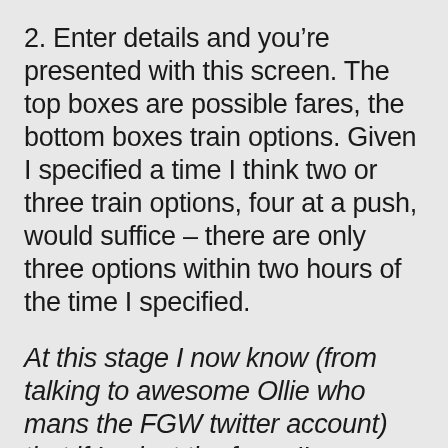2. Enter details and you're presented with this screen. The top boxes are possible fares, the bottom boxes train options. Given I specified a time I think two or three train options, four at a push, would suffice – there are only three options within two hours of the time I specified.
At this stage I now know (from talking to awesome Ollie who mans the FGW twitter account) that if I select the fares I'm interested in the fares according to each train will be displayed.